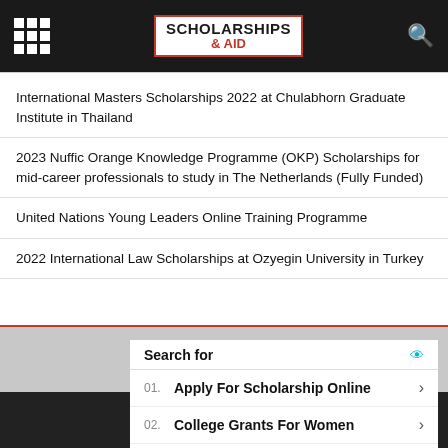SCHOLARSHIPS & AID
International Masters Scholarships 2022 at Chulabhorn Graduate Institute in Thailand
2023 Nuffic Orange Knowledge Programme (OKP) Scholarships for mid-career professionals to study in The Netherlands (Fully Funded)
United Nations Young Leaders Online Training Programme
2022 International Law Scholarships at Ozyegin University in Turkey
[Figure (screenshot): Yahoo Search sponsored ad unit with 'Search for' header, listing: 01. Apply For Scholarship Online, 02. College Grants For Women]